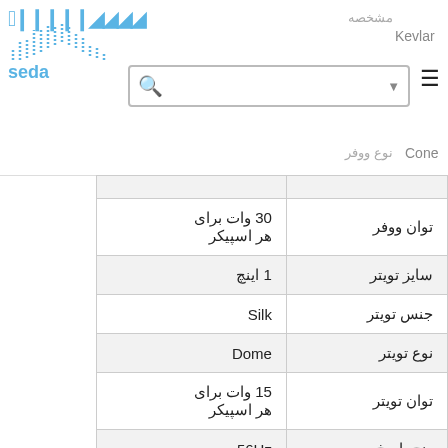seda center — logo with search bar and hamburger menu
| مشخصه | مقدار |
| --- | --- |
| توان ووفر | 30 وات برای هر اسپیکر |
| سایز تویتر | 1 اینچ |
| جنس تویتر | Silk |
| نوع تویتر | Dome |
| توان تویتر | 15 وات برای هر اسپیکر |
| رنج پاسخ فرکانسی | 56Hz - 22Khz |